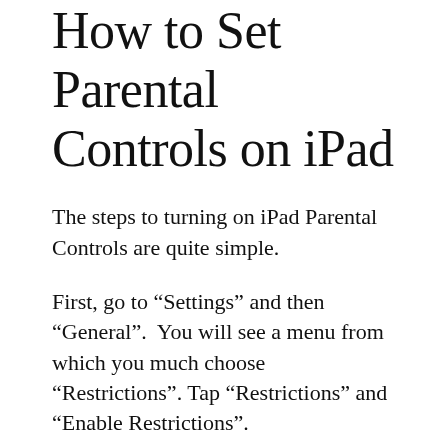How to Set Parental Controls on iPad
The steps to turning on iPad Parental Controls are quite simple.
First, go to “Settings” and then “General”.  You will see a menu from which you much choose “Restrictions”. Tap “Restrictions” and “Enable Restrictions”.
Create a passcode for this feature and remember it. Any changes in the Restrictions settings will require that passcode in the future, as well as when you want to disable the option. If you forget the passcode, the device must be erased and set